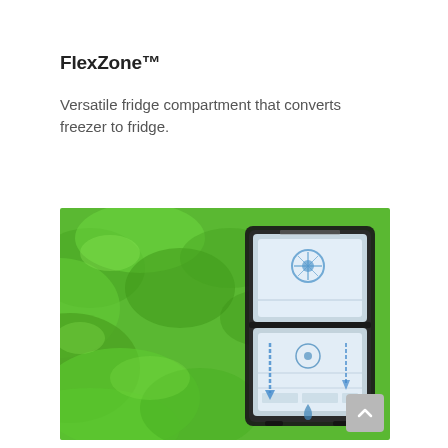FlexZone™
Versatile fridge compartment that converts freezer to fridge.
[Figure (photo): A Samsung FlexZone refrigerator with transparent/cutaway view showing internal compartments and airflow arrows, set against a vivid green leafy lettuce background.]